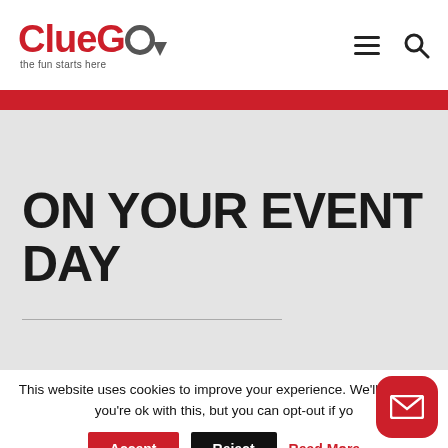[Figure (logo): ClueGo logo with red 'ClueGo' text, circular pin icon, and tagline 'the fun starts here']
ON YOUR EVENT DAY
This website uses cookies to improve your experience. We'll assume you're ok with this, but you can opt-out if yo
Accept
Reject
Read More